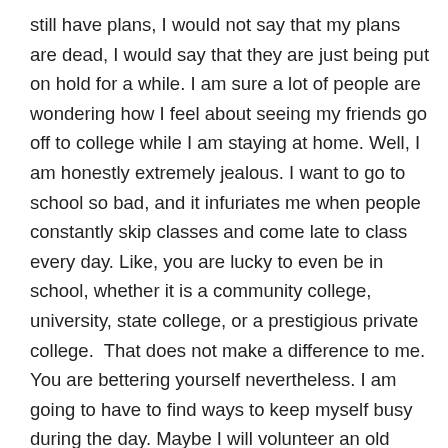still have plans, I would not say that my plans are dead, I would say that they are just being put on hold for a while. I am sure a lot of people are wondering how I feel about seeing my friends go off to college while I am staying at home. Well, I am honestly extremely jealous. I want to go to school so bad, and it infuriates me when people constantly skip classes and come late to class every day. Like, you are lucky to even be in school, whether it is a community college, university, state college, or a prestigious private college.  That does not make a difference to me. You are bettering yourself nevertheless. I am going to have to find ways to keep myself busy during the day. Maybe I will volunteer an old folks home, write the book that everyone is begging me to write: How I Planned My Wedding in Three Weeks… Two Spent in the Pediatric Oncology Ward. Yeah, I might have to work on that title,